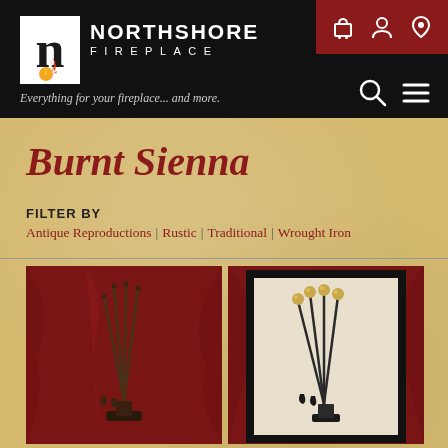Northshore Fireplace — Everything for your fireplace... and more.
Burnt Sienna
FILTER BY
Antique Reproductions | Rustic | Traditional | Wrought Iron
[Figure (photo): Fireplace tool set with decorative handles on dark red background]
[Figure (photo): Fireplace tool set with brass ball tops in a framed display on dark red background]